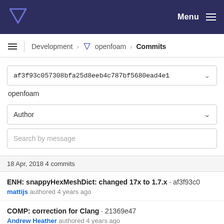Menu
Development › openfoam › Commits
af3f93c057308bfa25d8eeb4c787bf5680ead4e1
openfoam
Author
Search by message
18 Apr, 2018 4 commits
ENH: snappyHexMeshDict: changed 17x to 1.7.x · af3f93c0
mattijs authored 4 years ago
COMP: correction for Clang · 21369e47
Andrew Heather authored 4 years ago